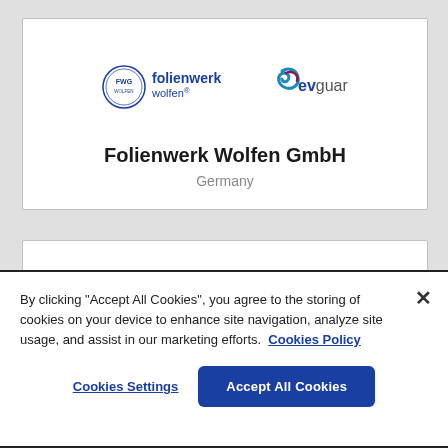[Figure (logo): FWG Folienwerk Wolfen and evguard logos side by side]
Folienwerk Wolfen GmbH
Germany
[Figure (logo): Partial FWG logo visible at bottom of second card]
By clicking "Accept All Cookies", you agree to the storing of cookies on your device to enhance site navigation, analyze site usage, and assist in our marketing efforts.  Cookies Policy
Cookies Settings
Accept All Cookies